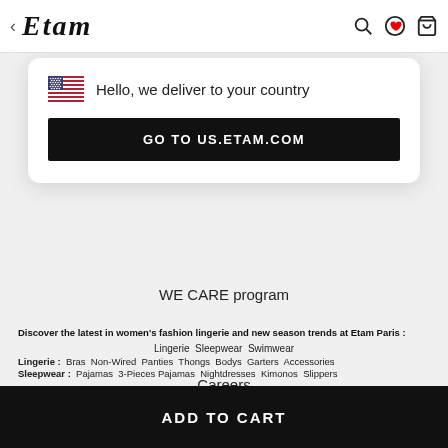< Etam [nav icons]
Hello, we deliver to your country
GO TO US.ETAM.COM
WE CARE program
Etam Stores
Careers
Discover the latest in women's fashion lingerie and new season trends at Etam Paris :
Lingerie  Sleepwear  Swimwear
Lingerie : Bras Non-Wired Panties Thongs Bodys Garters Accessories
Sleepwear : Pajamas 3-Pieces Pajamas Nightdresses Kimonos Slippers
ADD TO CART